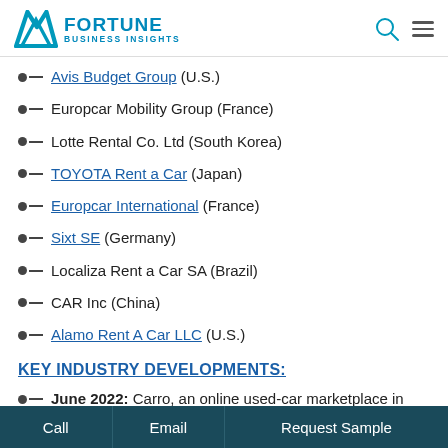FORTUNE BUSINESS INSIGHTS
Avis Budget Group (U.S.)
Europcar Mobility Group (France)
Lotte Rental Co. Ltd (South Korea)
TOYOTA Rent a Car (Japan)
Europcar International (France)
Sixt SE (Germany)
Localiza Rent a Car SA (Brazil)
CAR Inc (China)
Alamo Rent A Car LLC (U.S.)
KEY INDUSTRY DEVELOPMENTS:
June 2022: Carro, an online used-car marketplace in
Call  Email  Request Sample